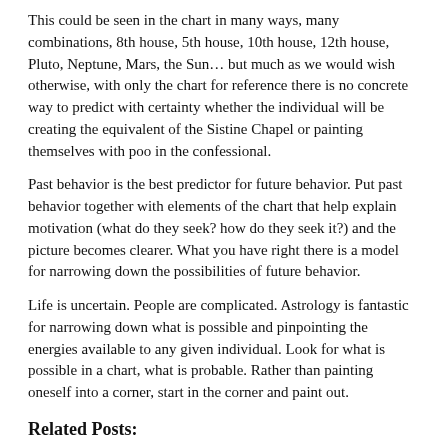This could be seen in the chart in many ways, many combinations, 8th house, 5th house, 10th house, 12th house, Pluto, Neptune, Mars, the Sun… but much as we would wish otherwise, with only the chart for reference there is no concrete way to predict with certainty whether the individual will be creating the equivalent of the Sistine Chapel or painting themselves with poo in the confessional.
Past behavior is the best predictor for future behavior. Put past behavior together with elements of the chart that help explain motivation (what do they seek? how do they seek it?) and the picture becomes clearer. What you have right there is a model for narrowing down the possibilities of future behavior.
Life is uncertain. People are complicated. Astrology is fantastic for narrowing down what is possible and pinpointing the energies available to any given individual. Look for what is possible in a chart, what is probable. Rather than painting oneself into a corner, start in the corner and paint out.
Related Posts:
[Figure (photo): Left thumbnail photo showing what appears to be tattoo/astrology symbols on skin, with a blue plus button overlay in the bottom left.]
[Figure (photo): Right thumbnail photo showing a loon bird (black and white) on green water.]